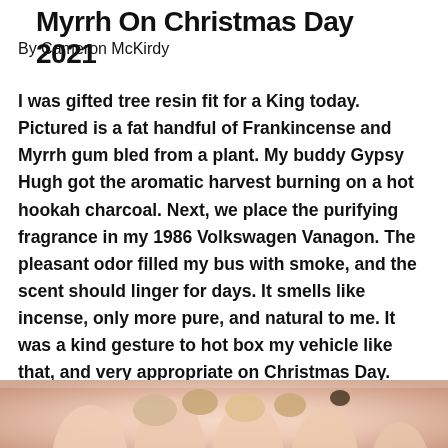Myrrh On Christmas Day 2021
By Cameron McKirdy
I was gifted tree resin fit for a King today.  Pictured is a fat handful of Frankincense and Myrrh gum bled from a plant.  My buddy Gypsy Hugh got the aromatic harvest burning on a hot hookah charcoal.  Next, we place the purifying fragrance in my 1986 Volkswagen Vanagon.  The pleasant odor filled my bus with smoke, and the scent should linger for days.  It smells like incense, only more pure, and natural to me.  It was a kind gesture to hot box my vehicle like that, and very appropriate on Christmas Day.  Enjoy the pictures below.  I'd never seen these hardened resins in person, called tears.
[Figure (photo): Close-up photo of hands holding Frankincense and Myrrh resin pieces, partially visible at bottom of page.]